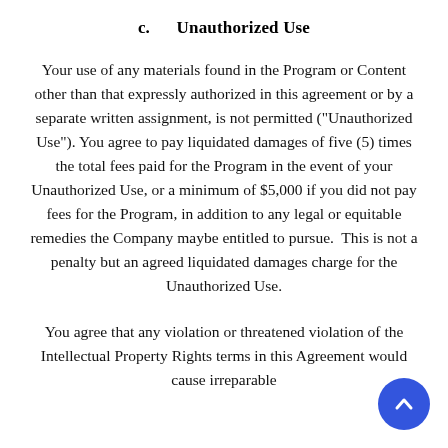c.      Unauthorized Use
Your use of any materials found in the Program or Content other than that expressly authorized in this agreement or by a separate written assignment, is not permitted (“Unauthorized Use”). You agree to pay liquidated damages of five (5) times the total fees paid for the Program in the event of your Unauthorized Use, or a minimum of $5,000 if you did not pay fees for the Program, in addition to any legal or equitable remedies the Company maybe entitled to pursue.  This is not a penalty but an agreed liquidated damages charge for the Unauthorized Use.
You agree that any violation or threatened violation of the Intellectual Property Rights terms in this Agreement would cause irreparable